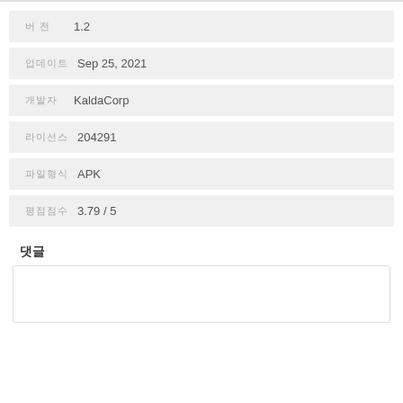버전  1.2
업데이트  Sep 25, 2021
개발자  KaldaCorp
라이선스  204291
파일형식  APK
평점점수  3.79 / 5
댓글